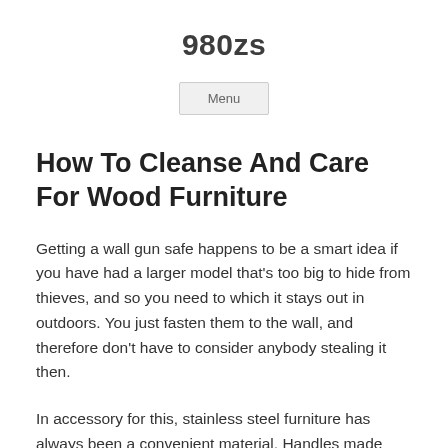980zs
Menu
How To Cleanse And Care For Wood Furniture
Getting a wall gun safe happens to be a smart idea if you have had a larger model that's too big to hide from thieves, and so you need to which it stays out in outdoors. You just fasten them to the wall, and therefore don't have to consider anybody stealing it then.
In accessory for this, stainless steel furniture has always been a convenient material. Handles made because of this are also sleek tend to be also easy to maintain. Need kinds of metals,